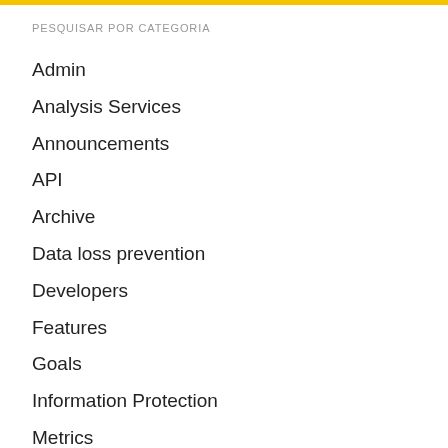PESQUISAR POR CATEGORIA
Admin
Analysis Services
Announcements
API
Archive
Data loss prevention
Developers
Features
Goals
Information Protection
Metrics
Paginated Reports